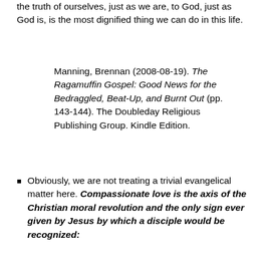the truth of ourselves, just as we are, to God, just as God is, is the most dignified thing we can do in this life.
Manning, Brennan (2008-08-19). The Ragamuffin Gospel: Good News for the Bedraggled, Beat-Up, and Burnt Out (pp. 143-144). The Doubleday Religious Publishing Group. Kindle Edition.
Obviously, we are not treating a trivial evangelical matter here. Compassionate love is the axis of the Christian moral revolution and the only sign ever given by Jesus by which a disciple would be recognized: